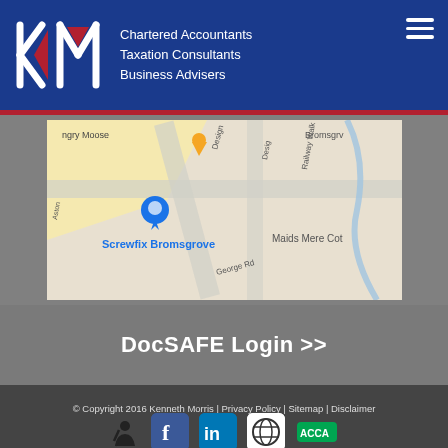KM – Chartered Accountants | Taxation Consultants | Business Advisers
[Figure (map): Google Maps screenshot showing Screwfix Bromsgrove location with pin, surrounding streets including George Rd, Railway Walk, Aston fields area, and Maids Mere Cot visible.]
DocSAFE Login >>
© Copyright 2016 Kenneth Morris | Privacy Policy | Sitemap | Disclaimer | Cookie Policy | Staff Login
[Figure (logo): Social media and partner logos: silhouette figure, Facebook, LinkedIn, wired globe icon, green ACCA logo]